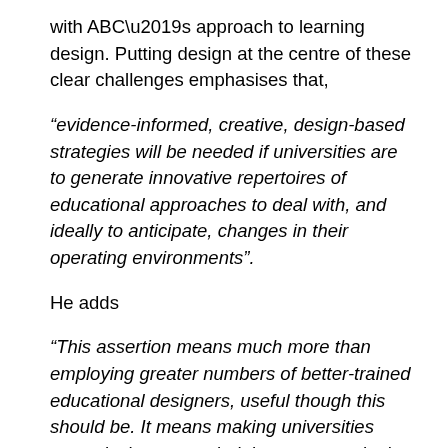with ABC’s approach to learning design. Putting design at the centre of these clear challenges emphasises that,
“evidence-informed, creative, design-based strategies will be needed if universities are to generate innovative repertoires of educational approaches to deal with, and ideally to anticipate, changes in their operating environments”.
He adds
“This assertion means much more than employing greater numbers of better-trained educational designers, useful though this should be. It means making universities more design-savvy; helping everyone in the institution participate in knowledgeable, design-led change.”